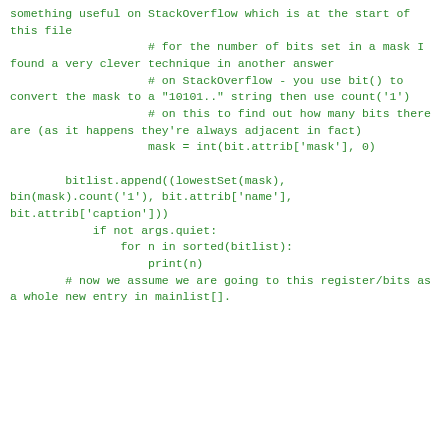something useful on StackOverflow which is at the start of this file
                    # for the number of bits set in a mask I found a very clever technique in another answer
                    # on StackOverflow - you use bit() to convert the mask to a "10101.." string then use count('1')
                    # on this to find out how many bits there are (as it happens they're always adjacent in fact)
                    mask = int(bit.attrib['mask'], 0)

        bitlist.append((lowestSet(mask), bin(mask).count('1'), bit.attrib['name'], bit.attrib['caption']))
            if not args.quiet:
                for n in sorted(bitlist):
                    print(n)
        # now we assume we are going to this register/bits as a whole new entry in mainlist[].